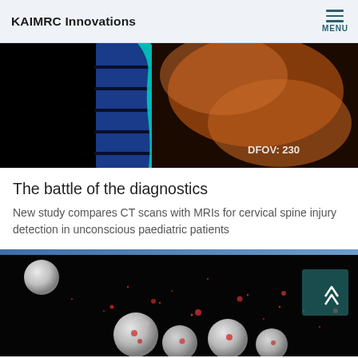KAIMRC Innovations
[Figure (photo): Colorized MRI/CT scan of cervical spine showing vertebrae in blue and surrounding tissue in orange/teal on black background, with overlay text 'DFOV: 230']
The battle of the diagnostics
New study compares CT scans with MRIs for cervical spine injury detection in unconscious paediatric patients
[Figure (photo): Scientific visualization of blood cells or particles on black background — spherical white/red cell structures surrounded by scattered red particles, with a semi-transparent teal scroll-to-top button in upper right corner]